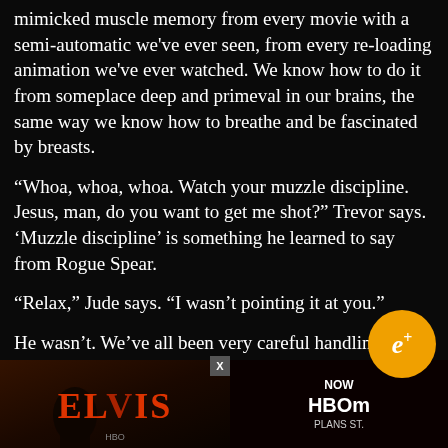mimicked muscle memory from every movie with a semi-automatic we've ever seen, from every re-loading animation we've ever watched. We know how to do it from someplace deep and primeval in our brains, the same way we know how to breathe and be fascinated by breasts.
“Whoa, whoa, whoa. Watch your muzzle discipline. Jesus, man, do you want to get me shot?” Trevor says. ‘Muzzle discipline’ is something he learned to say from Rogue Spear.
“Relax,” Jude says. “I wasn’t pointing it at you.”
He wasn’t. We’ve all been very careful handling guns.
“Maybe not at me, but you were within f⁠een degrees. That’s not wi⁠eters.”
[Figure (screenshot): Advertisement overlay at bottom: Elvis movie ad on left half, HBO Max subscription ad on right half. A close button X appears above the divider. An e+ badge (orange circle with italic e+) overlays the text area on the right side.]